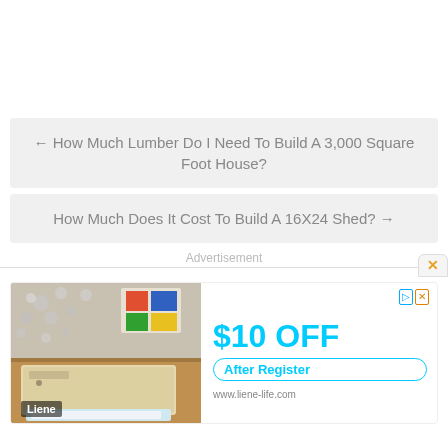← How Much Lumber Do I Need To Build A 3,000 Square Foot House?
How Much Does It Cost To Build A 16X24 Shed? →
Advertisement
[Figure (photo): Advertisement banner for Liene showing a photo printer device on a wooden table with '$10 OFF After Register' promotional text and www.liene-life.com URL]